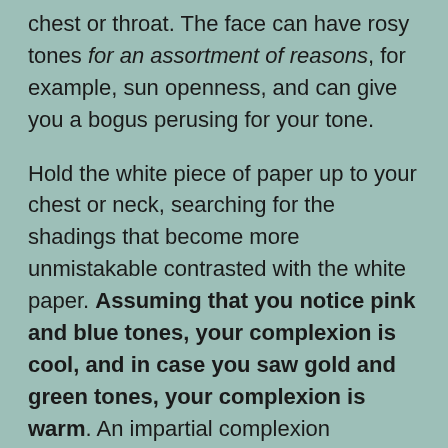chest or throat. The face can have rosy tones for an assortment of reasons, for example, sun openness, and can give you a bogus perusing for your tone.

Hold the white piece of paper up to your chest or neck, searching for the shadings that become more unmistakable contrasted with the white paper. Assuming that you notice pink and blue tones, your complexion is cool, and in case you saw gold and green tones, your complexion is warm. An impartial complexion probably has fluctuating skin tones relying upon the measure of sun